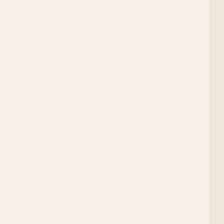ment of Tuzantla, and alcaldia mayor of Maravatio, in Nu...